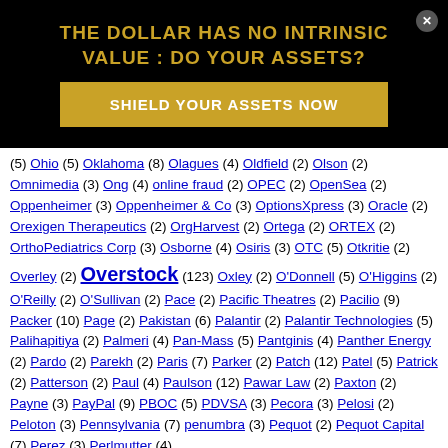[Figure (other): Advertisement overlay with black background. Title: 'THE DOLLAR HAS NO INTRINSIC VALUE : DO YOUR ASSETS?' in gold text. Button: 'SHIELD YOUR ASSETS NOW' in gold rectangle. Close button (x) in top right.]
(5) Ohio (5) Oklahoma (8) Olagues (4) Oldfield (2) Olson (2) Omnimedia (3) Ong (4) online fraud (2) OPEC (2) OpenSea (2) Oppenheimer (3) Oppenheimer & Co (3) OptionsXpress (3) Oracle (2) Orexigen Therapeutics (2) OrgHarvest (2) Ortega (2) ORTEX (2) OrthoPediatrics Corp (3) Osborne (4) Osiris (3) OTC (5) Otkritie (2) Overley (2) Overstock (123) Oxley (2) O'Donnell (5) O'Higgins (2) O'Reilly (2) O'Sullivan (2) Pace (2) Pacific Theatres (2) Pacilio (9) Packer (10) Page (2) Pakistan (6) Palantir (2) Palantir Technologies (5) Palihapitiya (2) Palmeri (4) Pan-Mass (5) Pantginis (4) Panther Energy (2) Pardo (2) Parekh (2) Paris (7) Parker (2) Patch (12) Patel (5) Patrick (2) Patterson (2) Paul (4) Paulson (12) Pawar Law (2) Paxton (2) Payne (3) PayPal (9) PBOC (5) PDVSA (3) Pecora (3) Pelosi (2) Peloton (3) Pennsylvania (7) penumbra (3) Pequot (2) Pequot Capital (7) Perez (3) Perlmutter (4)